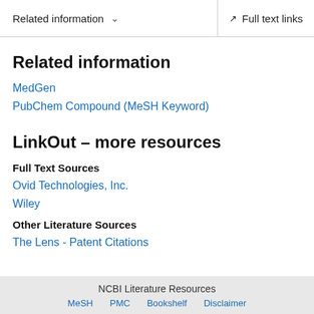Related information  ∨   Full text links
Related information
MedGen
PubChem Compound (MeSH Keyword)
LinkOut – more resources
Full Text Sources
Ovid Technologies, Inc.
Wiley
Other Literature Sources
The Lens - Patent Citations
NCBI Literature Resources  MeSH  PMC  Bookshelf  Disclaimer